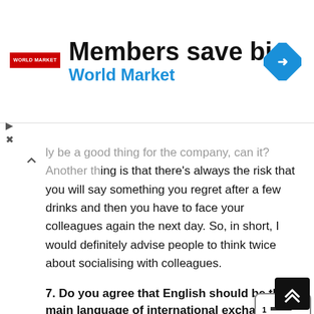[Figure (other): Advertisement banner for World Market: 'Members save big / World Market' with logo and blue navigation icon]
ly be a good thing for the company, can it? Another thing is that there's always the risk that you will say something you regret after a few drinks and then you have to face your colleagues again the next day. So, in short, I would definitely advise people to think twice about socialising with colleagues.
7. Do you agree that English should be the main language of international exchange?
That's a very interesting question. I've never really thought about it before, actually. We all just assume that it should be English, don't we? But what other languages could we use? I suppose Chinese is becoming quite an important language, but the pronunciation is too difficult for most people. English is already the main language of universities and business, so maybe it should stay that